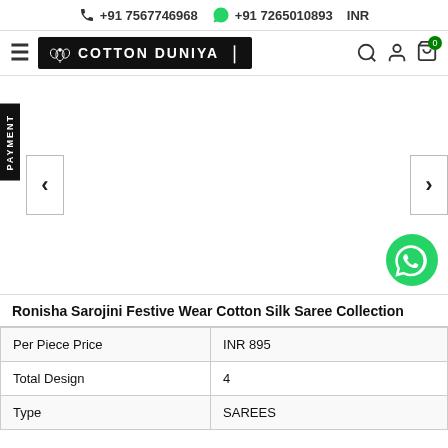+91 7567746968   +91 7265010893   INR
[Figure (logo): Cotton Duniya logo with lotus flower icon on black background]
Ronisha Sarojini Festive Wear Cotton Silk Saree Collection
| Per Piece Price | INR 895 |
| Total Design | 4 |
| Type | SAREES |